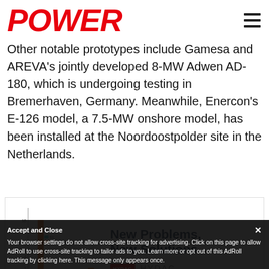POWER
Other notable prototypes include Gamesa and AREVA's jointly developed 8-MW Adwen AD-180, which is undergoing testing in Bremerhaven, Germany. Meanwhile, Enercon's E-126 model, a 7.5-MW onshore model, has been installed at the Noordoostpolder site in the Netherlands.
[Figure (grouped-bar-chart): Bar chart showing grouped data for Group I, Group II, and Group III with two series in cyan and orange colors. Tall orange bar for Group I.]
New Problems, New Solutions
HYDAC
Learn More
Today's environmentally-friendly hydraulic fluids...
Your browser settings do not allow cross-site tracking for advertising. Click on this page to allow AdRoll to use cross-site tracking to tailor ads to you. Learn more or opt out of this AdRoll tracking by clicking here. This message only appears once.